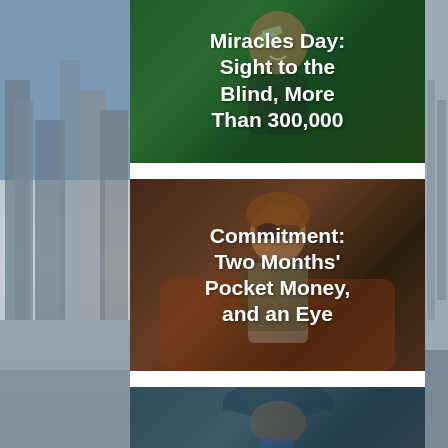[Figure (photo): A smiling child with a bandage/eye patch over one eye, overlaid with large white bold text reading 'Miracles Day: Sight to the Blind, More Than 300,000']
[Figure (photo): A young person with an eye patch sitting in what appears to be a restaurant or lounge, overlaid with large white bold text reading 'Commitment: Two Months' Pocket Money, and an Eye']
[Figure (photo): Partial view of a third image at the bottom of the page, appears to show a person outdoors]